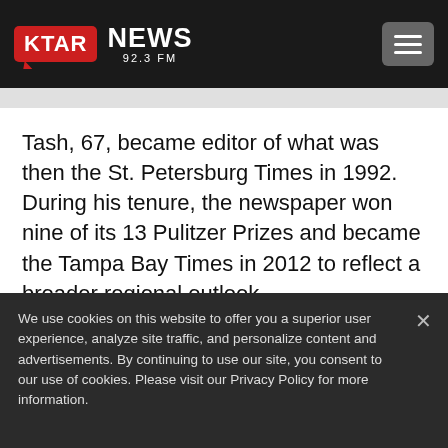KTAR NEWS 92.3 FM
Tash, 67, became editor of what was then the St. Petersburg Times in 1992. During his tenure, the newspaper won nine of its 13 Pulitzer Prizes and became the Tampa Bay Times in 2012 to reflect a broader regional outlook.
We use cookies on this website to offer you a superior user experience, analyze site traffic, and personalize content and advertisements. By continuing to use our site, you consent to our use of cookies. Please visit our Privacy Policy for more information.